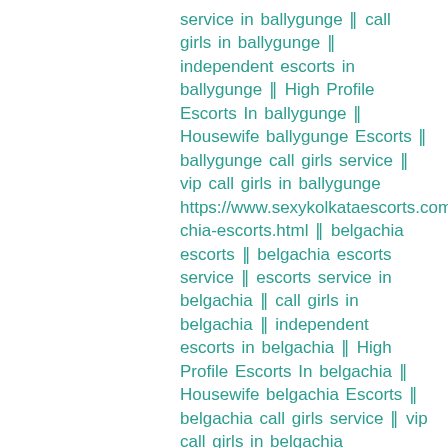service in ballygunge ∥ call girls in ballygunge ∥ independent escorts in ballygunge ∥ High Profile Escorts In ballygunge ∥ Housewife ballygunge Escorts ∥ ballygunge call girls service ∥ vip call girls in ballygunge https://www.sexykolkataescorts.com/belgachia-escorts.html ∥ belgachia escorts ∥ belgachia escorts service ∥ escorts service in belgachia ∥ call girls in belgachia ∥ independent escorts in belgachia ∥ High Profile Escorts In belgachia ∥ Housewife belgachia Escorts ∥ belgachia call girls service ∥ vip call girls in belgachia https://www.sexykolkataescorts.com/calcutta-barabazar-escorts.html ∥ calcutta-barabazar escorts ∥ calcutta-barabazar escorts service ∥ escorts service in calcutta-barabazar ∥ call girls in calcutta-barabazar ∥ independent escorts in calcutta-barabazar ∥ High Profile Escorts In calcutta-barabazar ∥ Housewife